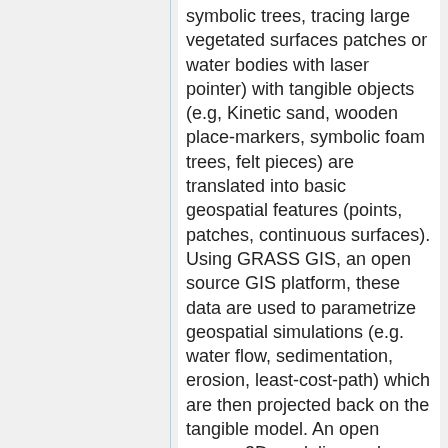symbolic trees, tracing large vegetated surfaces patches or water bodies with laser pointer) with tangible objects (e.g, Kinetic sand, wooden place-markers, symbolic foam trees, felt pieces) are translated into basic geospatial features (points, patches, continuous surfaces). Using GRASS GIS, an open source GIS platform, these data are used to parametrize geospatial simulations (e.g. water flow, sedimentation, erosion, least-cost-path) which are then projected back on the tangible model. An open source 3D modeling and rendering pipeline (i.e. Blender) is loosely coupled with GRASS GIS to update